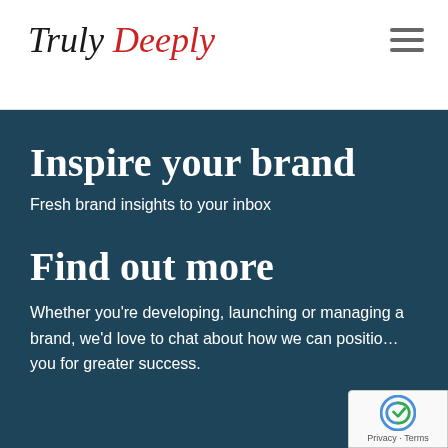Truly Deeply
Inspire your brand
Fresh brand insights to your inbox
Find out more
Whether you're developing, launching or managing a brand, we'd love to chat about how we can position you for greater success.